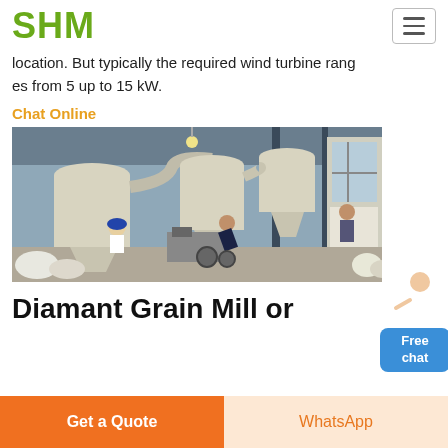SHM
location. But typically the required wind turbine ranges from 5 up to 15 kW.
Chat Online
[Figure (photo): Industrial grain mill facility interior showing large white cylindrical cyclone separators and workers on the factory floor]
Diamant Grain Mill or
Get a Quote | WhatsApp